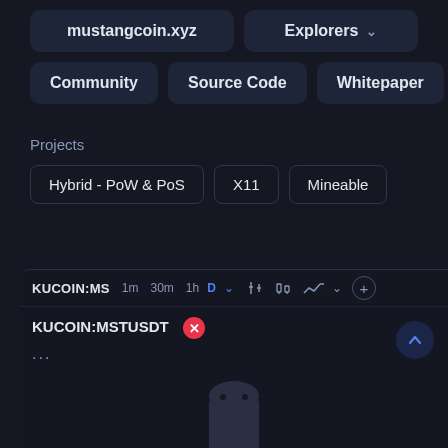[Figure (screenshot): Dark-themed cryptocurrency info page showing navigation buttons: mustangcoin.xyz, Explorers dropdown, Community, Source Code, Whitepaper; a Projects section with tags Hybrid - PoW & PoS, X11, Mineable; and a TradingView chart widget showing KUCOIN:MSTUSDT with a ghost/empty state illustration.]